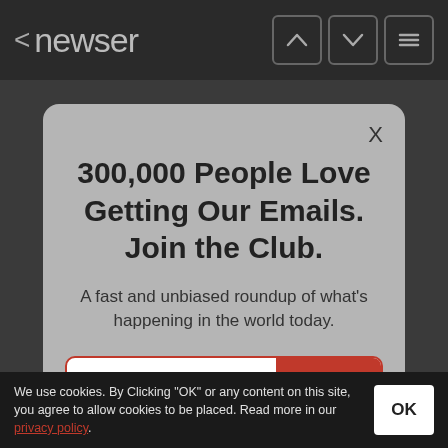< newser
300,000 People Love Getting Our Emails. Join the Club.
A fast and unbiased roundup of what's happening in the world today.
your email address  SIGN UP
Popular on Newser
We use cookies. By Clicking "OK" or any content on this site, you agree to allow cookies to be placed. Read more in our privacy policy.  OK